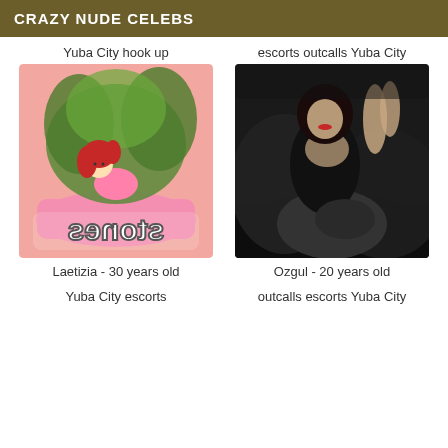CRAZY NUDE CELEBS
Yuba City hook up
[Figure (illustration): Cartoon illustration of a red-haired girl in pink outfit lying among green leaves on a pink background, with mirrored/reversed text 'stones' in white bubble letters at the bottom]
Laetizia - 30 years old
Yuba City escorts
escorts outcalls Yuba City
[Figure (photo): Photo of a woman in a black outfit sitting on a dark leather couch/chair, posed with arms raised]
Ozgul - 20 years old
outcalls escorts Yuba City